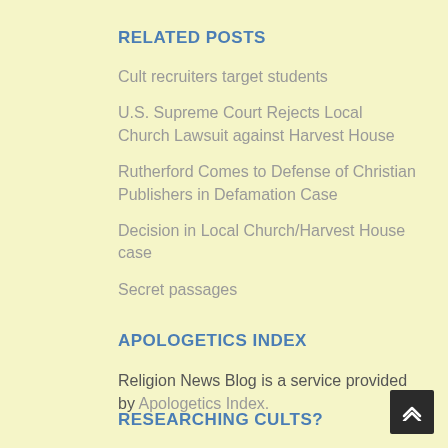RELATED POSTS
Cult recruiters target students
U.S. Supreme Court Rejects Local Church Lawsuit against Harvest House
Rutherford Comes to Defense of Christian Publishers in Defamation Case
Decision in Local Church/Harvest House case
Secret passages
APOLOGETICS INDEX
Religion News Blog is a service provided by Apologetics Index.
RESEARCHING CULTS?